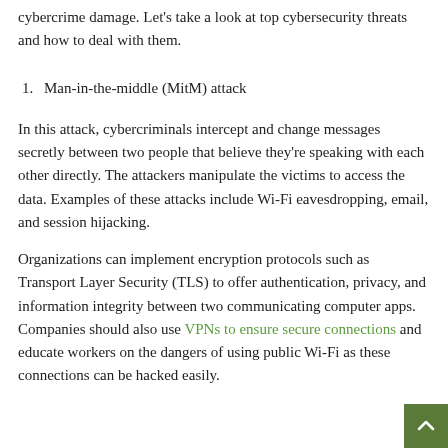cybercrime damage. Let's take a look at top cybersecurity threats and how to deal with them.
1. Man-in-the-middle (MitM) attack
In this attack, cybercriminals intercept and change messages secretly between two people that believe they're speaking with each other directly. The attackers manipulate the victims to access the data. Examples of these attacks include Wi-Fi eavesdropping, email, and session hijacking.
Organizations can implement encryption protocols such as Transport Layer Security (TLS) to offer authentication, privacy, and information integrity between two communicating computer apps. Companies should also use VPNs to ensure secure connections and educate workers on the dangers of using public Wi-Fi as these connections can be hacked easily.